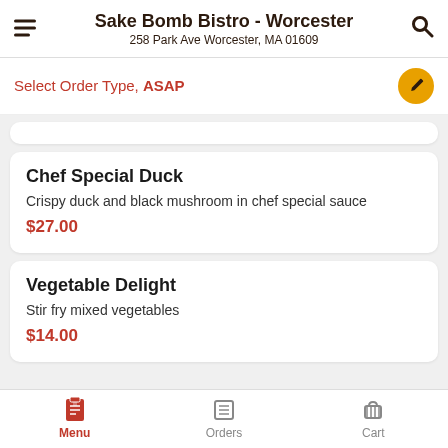Sake Bomb Bistro - Worcester
258 Park Ave Worcester, MA 01609
Select Order Type, ASAP
Chef Special Duck
Crispy duck and black mushroom in chef special sauce
$27.00
Vegetable Delight
Stir fry mixed vegetables
$14.00
Menu  Orders  Cart